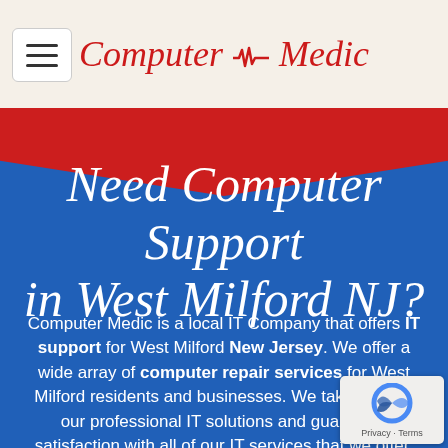[Figure (logo): Computer Medic logo with heartbeat pulse line in red italic script font]
[Figure (illustration): Red chevron band transitioning into blue background, pointing downward]
Need Computer Support in West Milford NJ?
Computer Medic is a local IT Company that offers IT support for West Milford New Jersey. We offer a wide array of computer repair services for West Milford residents and businesses. We take pride in our professional IT solutions and guarantee satisfaction with all of our IT services that we offer. Get your broken computer fixed with us or allow us to setup and install any technology related